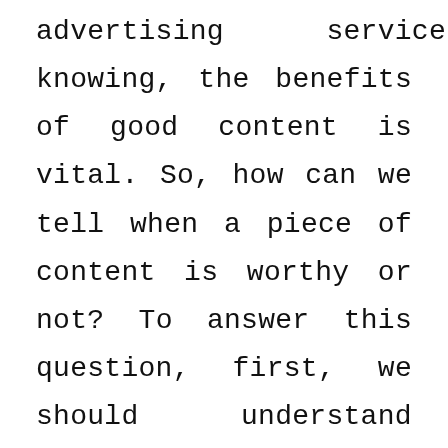advertising services, so knowing, the benefits of good content is vital. So, how can we tell when a piece of content is worthy or not? To answer this question, first, we should understand the purpose of ‘content marketing’ as an advertising stream. Content marketing is a strategic marketing